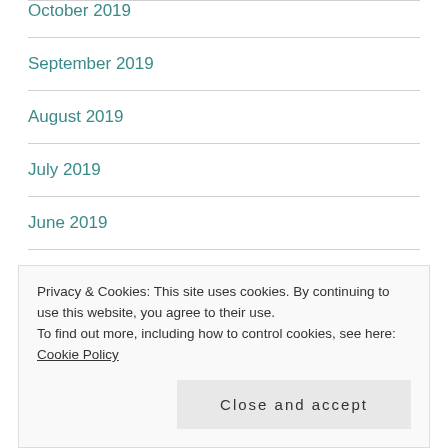October 2019
September 2019
August 2019
July 2019
June 2019
May 2019
April 2019
March 2019
Privacy & Cookies: This site uses cookies. By continuing to use this website, you agree to their use. To find out more, including how to control cookies, see here: Cookie Policy
Close and accept